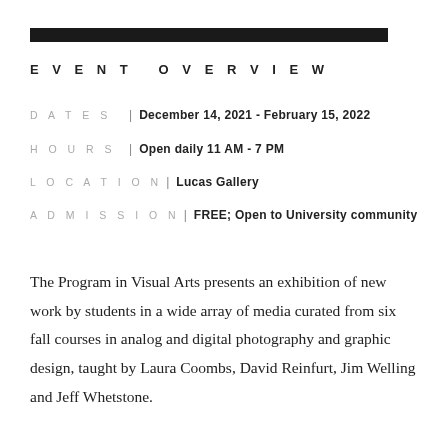[Figure (other): Thick black horizontal decorative bar near top of page]
EVENT OVERVIEW
DATES | December 14, 2021 - February 15, 2022
HOURS | Open daily 11 AM - 7 PM
LOCATION | Lucas Gallery
ADMISSION | FREE; Open to University community
The Program in Visual Arts presents an exhibition of new work by students in a wide array of media curated from six fall courses in analog and digital photography and graphic design, taught by Laura Coombs, David Reinfurt, Jim Welling and Jeff Whetstone.